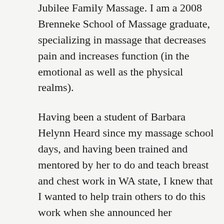Jubilee Family Massage. I am a 2008 Brenneke School of Massage graduate, specializing in massage that decreases pain and increases function (in the emotional as well as the physical realms).
Having been a student of Barbara Helynn Heard since my massage school days, and having been trained and mentored by her to do and teach breast and chest work in WA state, I knew that I wanted to help train others to do this work when she announced her retirement from teaching, early in 2021. A long and much-respected massage therapist and instructor, Barbara was a key voice in the 2015-2016 discussions to define what became “WAC 246-